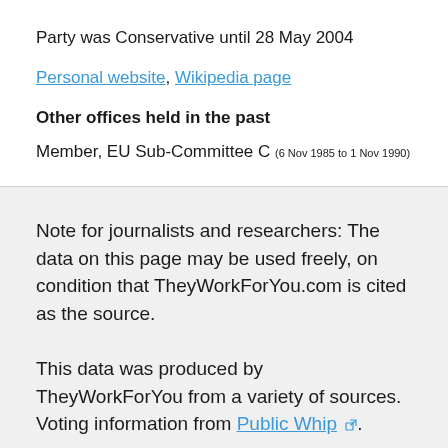Party was Conservative until 28 May 2004
Personal website, Wikipedia page
Other offices held in the past
Member, EU Sub-Committee C (6 Nov 1985 to 1 Nov 1990)
Note for journalists and researchers: The data on this page may be used freely, on condition that TheyWorkForYou.com is cited as the source.
This data was produced by TheyWorkForYou from a variety of sources. Voting information from Public Whip.